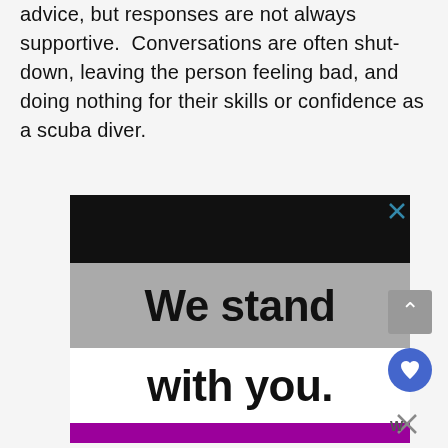advice, but responses are not always supportive. Conversations are often shut-down, leaving the person feeling bad, and doing nothing for their skills or confidence as a scuba diver.
[Figure (other): Advertisement banner with black top section, gray middle section with bold text 'We stand', white section with bold text 'with you.', and purple bottom section with lavender strip. Has a close (X) button in top right corner.]